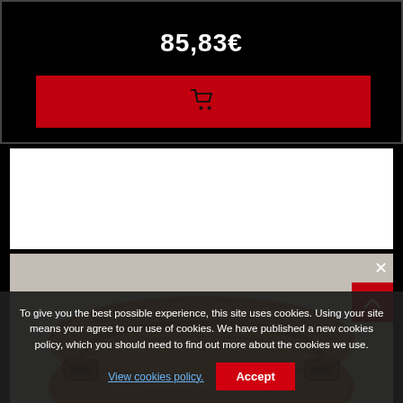85,83 €
[Figure (illustration): Red add-to-cart button with shopping cart icon]
[Figure (photo): Brown leather bag product photo on grey background]
To give you the best possible experience, this site uses cookies. Using your site means your agree to our use of cookies. We have published a new cookies policy, which you should need to find out more about the cookies we use. View cookies policy. Accept